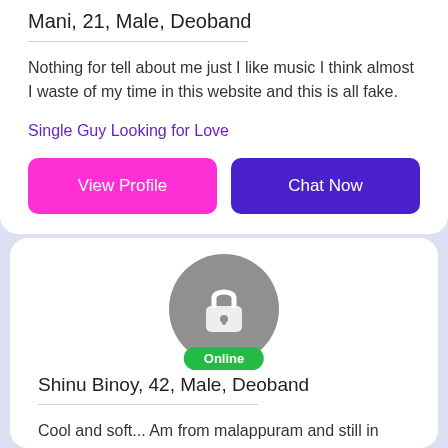Mani, 21, Male, Deoband
Nothing for tell about me just I like music I think almost I waste of my time in this website and this is all fake.
Single Guy Looking for Love
View Profile
Chat Now
[Figure (illustration): Gray circle with a white lock icon and a green Online badge below]
Shinu Binoy, 42, Male, Deoband
Cool and soft... Am from malappuram and still in qatar
Separated Man for Internet Buddies